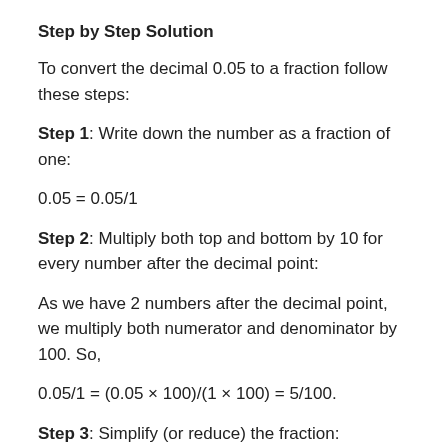Step by Step Solution
To convert the decimal 0.05 to a fraction follow these steps:
Step 1: Write down the number as a fraction of one:
Step 2: Multiply both top and bottom by 10 for every number after the decimal point:
As we have 2 numbers after the decimal point, we multiply both numerator and denominator by 100. So,
Step 3: Simplify (or reduce) the fraction: